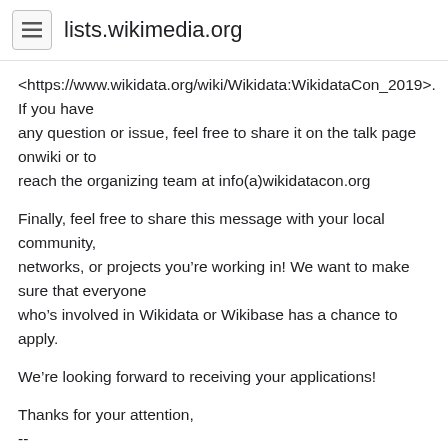lists.wikimedia.org
<https://www.wikidata.org/wiki/Wikidata:WikidataCon_2019>. If you have any question or issue, feel free to share it on the talk page onwiki or to reach the organizing team at info(a)wikidatacon.org
Finally, feel free to share this message with your local community, networks, or projects you’re working in! We want to make sure that everyone who’s involved in Wikidata or Wikibase has a chance to apply.
We’re looking forward to receiving your applications!
Thanks for your attention,
--
Léa Lacroix
Project Manager Community Communication for Wikidata